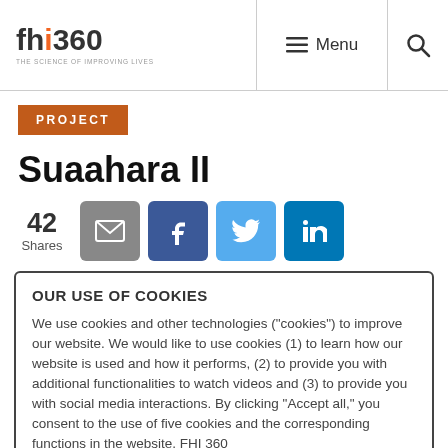[Figure (logo): FHI 360 logo with tagline 'THE SCIENCE OF IMPROVING LIVES']
Menu  [search icon]
PROJECT
Suaahara II
42 Shares
[Figure (infographic): Social share buttons: email (grey), Facebook (dark blue), Twitter (light blue), LinkedIn (blue)]
OUR USE OF COOKIES
We use cookies and other technologies (“cookies”) to improve our website. We would like to use cookies (1) to learn how our website is used and how it performs, (2) to provide you with additional functionalities to watch videos and (3) to provide you with social media interactions. By clicking “Accept all,” you consent to the use of five cookies and the corresponding functions in the website. FHI 360